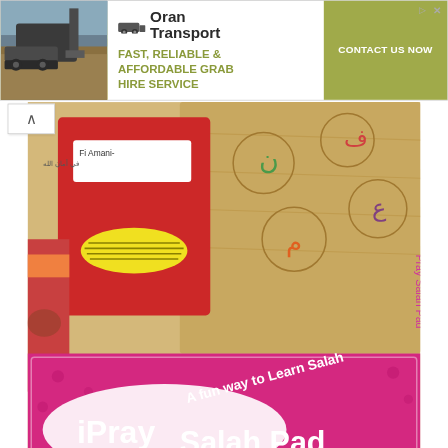[Figure (screenshot): Advertisement banner for Oran Transport: Fast, Reliable & Affordable Grab Hire Service with Contact Us Now button and construction photo]
[Figure (photo): Photo of Islamic children's educational products including iPray Salah Pad (pink, 'A fun way to Learn Salah') and other colorful items with Arabic letters]
Saturday Spotlight: Desi Doll Company
PREVIOUS POST
NEXT POST
BACK TO TOP ^